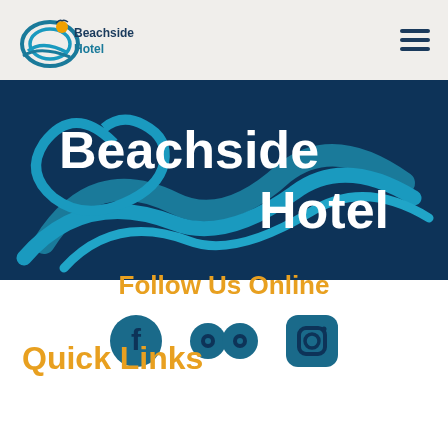[Figure (logo): Beachside Hotel logo with wave and bird graphic, teal and orange colors]
[Figure (illustration): Hamburger menu icon with three dark blue horizontal lines]
[Figure (logo): Large Beachside Hotel logo on dark blue background with white text and teal wave graphic]
Follow Us Online
[Figure (infographic): Three social media icons: Facebook, TripAdvisor, Instagram in teal color]
Quick Links
Rooms
Amenities
Offers